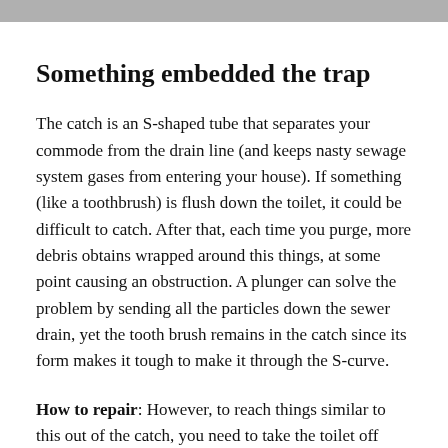Something embedded the trap
The catch is an S-shaped tube that separates your commode from the drain line (and keeps nasty sewage system gases from entering your house). If something (like a toothbrush) is flush down the toilet, it could be difficult to catch. After that, each time you purge, more debris obtains wrapped around this things, at some point causing an obstruction. A plunger can solve the problem by sending all the particles down the sewer drain, yet the tooth brush remains in the catch since its form makes it tough to make it through the S-curve.
How to repair: However, to reach things similar to this out of the catch, you need to take the toilet off